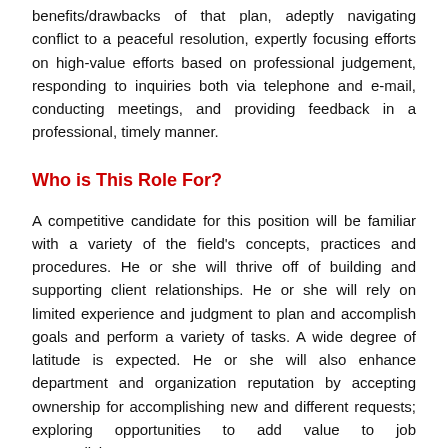benefits/drawbacks of that plan, adeptly navigating conflict to a peaceful resolution, expertly focusing efforts on high-value efforts based on professional judgement, responding to inquiries both via telephone and e-mail, conducting meetings, and providing feedback in a professional, timely manner.
Who is This Role For?
A competitive candidate for this position will be familiar with a variety of the field's concepts, practices and procedures. He or she will thrive off of building and supporting client relationships. He or she will rely on limited experience and judgment to plan and accomplish goals and perform a variety of tasks. A wide degree of latitude is expected. He or she will also enhance department and organization reputation by accepting ownership for accomplishing new and different requests; exploring opportunities to add value to job accomplishments.
What Will You Be Responsible For?
As a Manager and providing these services, this will